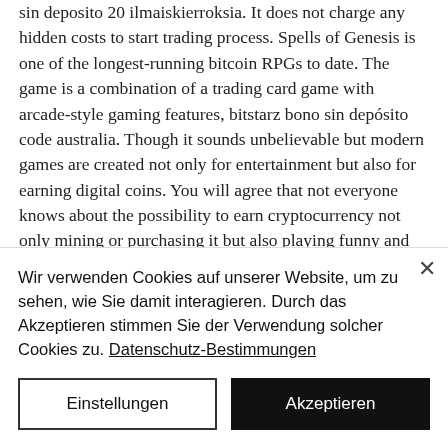sin deposito 20 ilmaiskierroksia. It does not charge any hidden costs to start trading process. Spells of Genesis is one of the longest-running bitcoin RPGs to date. The game is a combination of a trading card game with arcade-style gaming features, bitstarz bono sin depósito code australia. Though it sounds unbelievable but modern games are created not only for entertainment but also for earning digital coins. You will agree that not everyone knows about the possibility to earn cryptocurrency not only mining or purchasing it but also playing funny and exciting games, bitstarz bono sin depósito 20 freispiele. If youre flipping a
Wir verwenden Cookies auf unserer Website, um zu sehen, wie Sie damit interagieren. Durch das Akzeptieren stimmen Sie der Verwendung solcher Cookies zu. Datenschutz-Bestimmungen
Einstellungen
Akzeptieren